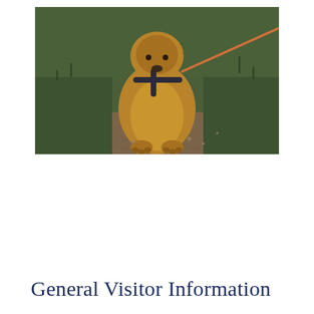[Figure (photo): A golden-brown dog sitting on a dirt trail, wearing a dark harness attached to an orange leash. Green grass and foliage are visible in the background.]
General Visitor Information